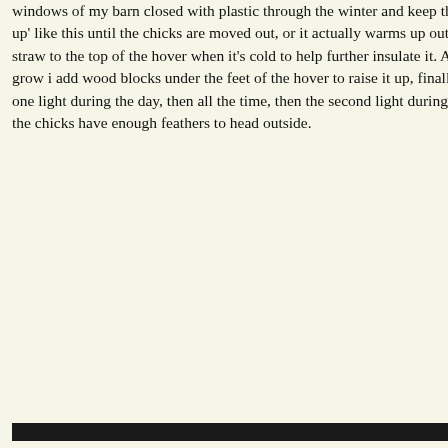windows of my barn closed with plastic through the winter and keep them 'boarded up' like this until the chicks are moved out, or it actually warms up outside. I add straw to the top of the hover when it's cold to help further insulate it. As the chicks grow i add wood blocks under the feet of the hover to raise it up, finally turning off one light during the day, then all the time, then the second light during the days until the chicks have enough feathers to head outside.
Blogroll:
Corgis
Corgi Butts
Corgi Dogs .org
Corgi Pants
Corgis Corgis Corgis
Corgis in Bend, OR
Kipper the Corgi
Me So Corgi with Jasper Islington
OCD (Obsessive
You do not have to buy one of my recommended items: every purchase made after you've clicked through applies. Every cent helps us fund this crazy adventure! Thanks in advance!
Check them out:
[Figure (photo): Fiber Friends image showing a corgi dog with text 'Fiber Friends']